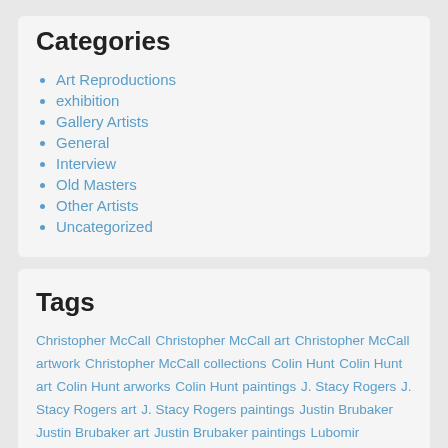Categories
Art Reproductions
exhibition
Gallery Artists
General
Interview
Old Masters
Other Artists
Uncategorized
Tags
Christopher McCall Christopher McCall art Christopher McCall artwork Christopher McCall collections Colin Hunt Colin Hunt art Colin Hunt arworks Colin Hunt paintings J. Stacy Rogers J. Stacy Rogers art J. Stacy Rogers paintings Justin Brubaker Justin Brubaker art Justin Brubaker paintings Lubomir Tomaszewski Lubomir Tomaszewski art May Morris artwork May